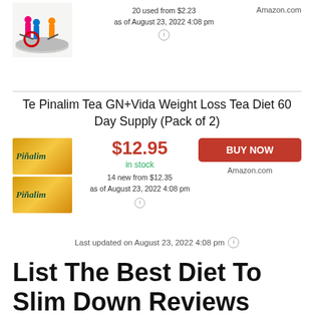[Figure (photo): Partial product image at top, cropped fitness equipment on circular platform]
20 used from $2.23
as of August 23, 2022 4:08 pm
Amazon.com
Te Pinalim Tea GN+Vida Weight Loss Tea Diet 60 Day Supply (Pack of 2)
[Figure (photo): Two boxes of Piñalim tea product with yellow-orange packaging]
$12.95
in stock
14 new from $12.35
as of August 23, 2022 4:08 pm
BUY NOW
Amazon.com
Last updated on August 23, 2022 4:08 pm
List The Best Diet To Slim Down Reviews